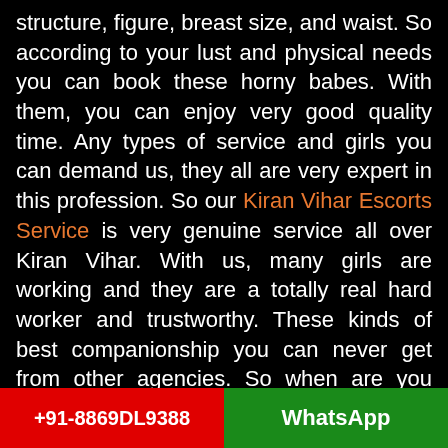structure, figure, breast size, and waist. So according to your lust and physical needs you can book these horny babes. With them, you can enjoy very good quality time. Any types of service and girls you can demand us, they all are very expert in this profession. So our Kiran Vihar Escorts Service is very genuine service all over Kiran Vihar. With us, many girls are working and they are a totally real hard worker and trustworthy. These kinds of best companionship you can never get from other agencies. So when are you coming to meet and hire these hottest girls in Kiran Vihar? You know Kiran Vihar is
+91-8869DL9388   WhatsApp